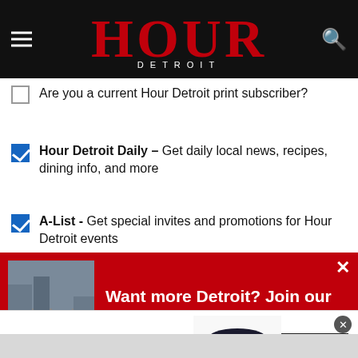HOUR DETROIT
Are you a current Hour Detroit print subscriber?
Hour Detroit Daily – Get daily local news, recipes, dining info, and more
A-List - Get special invites and promotions for Hour Detroit events
[Figure (screenshot): Red popup banner with city photo and text 'Want more Detroit? Join our newsletter list!']
[Figure (screenshot): Bloomingdale's advertisement banner with 'View Today's Top Deals!' and 'SHOP NOW >' button, featuring a woman in a hat]